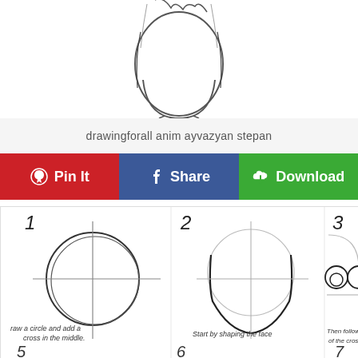[Figure (illustration): Partial view of an anime character face sketch showing top of head with hair, from a drawing tutorial]
drawingforall anim ayvazyan stepan
[Figure (infographic): Three action buttons: red Pin It button with Pinterest icon, blue Share button with Facebook icon, green Download button with cloud icon]
[Figure (illustration): Step-by-step anime face drawing tutorial showing 3 steps: Step 1 - draw a circle and add a cross in the middle, Step 2 - Start by shaping the face, Step 3 - Then followed by the eyes. Use the cross for balance. Additional step 6 and 7 partially visible at bottom.]
raw a circle and add a cross in the middle.
Start by shaping the face
Then followed by the eyes. And use of the cross for balan...